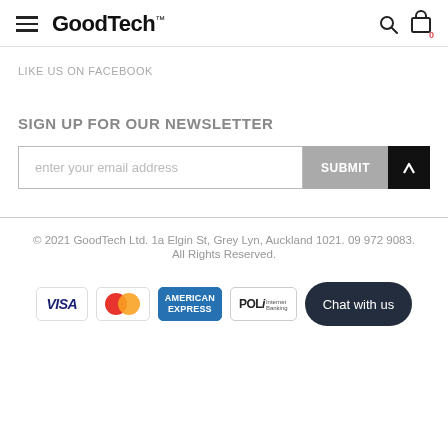GoodTech
LIKE US ON FACEBOOK
SIGN UP FOR OUR NEWSLETTER
enter your email address
© 2021 GoodTech Ltd. 1a Elgin St, Grey Lyn, Auckland 1021. 09 972 9083. All Rights Reserved.
[Figure (other): Payment method logos: VISA, Mastercard, American Express, POLi. Chat with us button.]